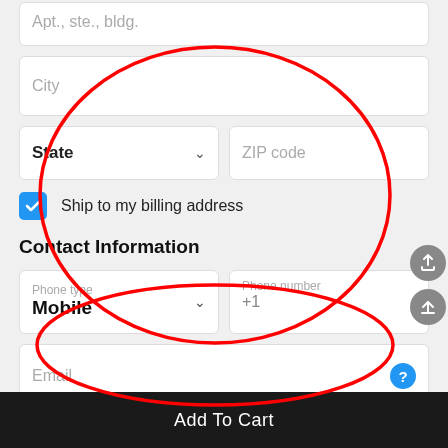[Figure (screenshot): Mobile app form screenshot showing address and contact information fields with red circle annotations highlighting City/State/ZIP fields and Phone/Email fields. An 'Add To Cart' button appears at the bottom.]
Apt., ste., bldg.
City
State
ZIP code
Ship to my billing address
Contact Information
Phone type / Mobile
Phone number / +1
Email
Add To Cart